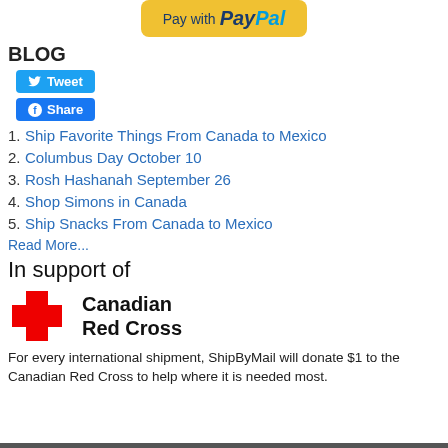[Figure (logo): PayPal Pay with button in yellow/gold with PayPal logo text]
BLOG
[Figure (other): Twitter Tweet button (blue)]
[Figure (other): Facebook Share button (blue)]
1. Ship Favorite Things From Canada to Mexico
2. Columbus Day October 10
3. Rosh Hashanah September 26
4. Shop Simons in Canada
5. Ship Snacks From Canada to Mexico
Read More...
In support of
[Figure (logo): Canadian Red Cross logo with red cross icon and bold text Canadian Red Cross]
For every international shipment, ShipByMail will donate $1 to the Canadian Red Cross to help where it is needed most.